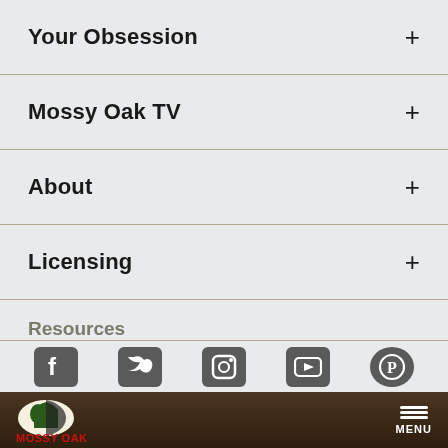Your Obsession +
Mossy Oak TV +
About +
Licensing +
Resources
Store
Contact Us
[Figure (screenshot): Social media icons row: Facebook, Twitter, Instagram, YouTube, Pinterest]
[Figure (logo): Mossy Oak logo with tree silhouette and red MOSSY OAK text, on dark wood-textured footer bar with MENU button]